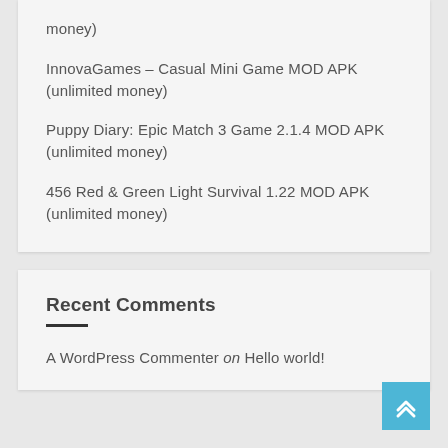money)
InnovaGames – Casual Mini Game MOD APK (unlimited money)
Puppy Diary: Epic Match 3 Game 2.1.4 MOD APK (unlimited money)
456 Red & Green Light Survival 1.22 MOD APK (unlimited money)
Recent Comments
A WordPress Commenter on Hello world!